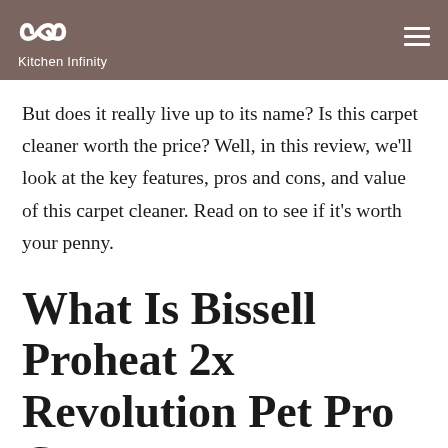Kitchen Infinity
But does it really live up to its name? Is this carpet cleaner worth the price? Well, in this review, we'll look at the key features, pros and cons, and value of this carpet cleaner. Read on to see if it's worth your penny.
What Is Bissell Proheat 2x Revolution Pet Pro Carpet